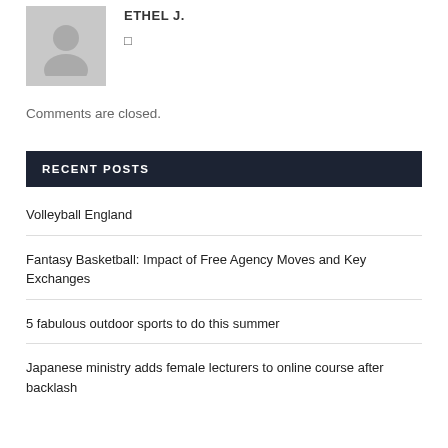[Figure (illustration): Grey avatar/profile placeholder image showing a silhouette of a person]
ETHEL J.
🔗
Comments are closed.
RECENT POSTS
Volleyball England
Fantasy Basketball: Impact of Free Agency Moves and Key Exchanges
5 fabulous outdoor sports to do this summer
Japanese ministry adds female lecturers to online course after backlash